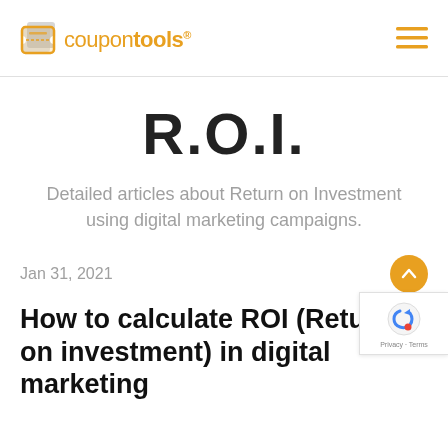coupontools®
R.O.I.
Detailed articles about Return on Investment using digital marketing campaigns.
Jan 31, 2021
How to calculate ROI (Return on investment) in digital marketing